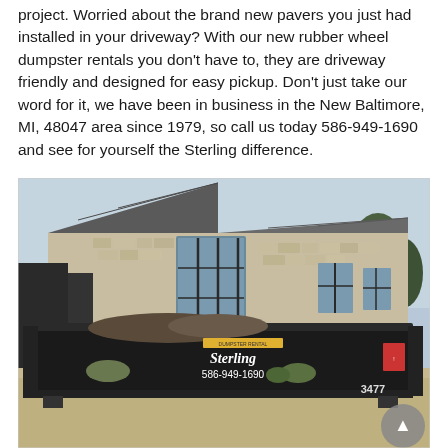project. Worried about the brand new pavers you just had installed in your driveway? With our new rubber wheel dumpster rentals you don't have to, they are driveway friendly and designed for easy pickup. Don't just take our word for it, we have been in business in the New Baltimore, MI, 48047 area since 1979, so call us today 586-949-1690 and see for yourself the Sterling difference.
[Figure (photo): A large black Sterling dumpster with '586-949-1690' and number '3477' printed on it, parked in front of a modern stone building with a steep gabled roof and large glass windows.]